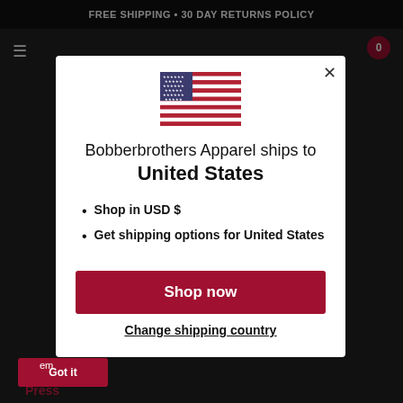FREE SHIPPING • 30 DAY RETURNS POLICY
[Figure (illustration): US flag illustration shown in modal dialog]
Bobberbrothers Apparel ships to United States
Shop in USD $
Get shipping options for United States
Shop now
Change shipping country